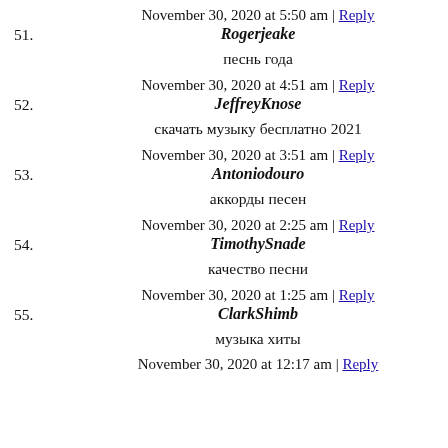51. November 30, 2020 at 5:50 am | Reply
Rogerjeake
песнь года
52. November 30, 2020 at 4:51 am | Reply
JeffreyKnose
скачать музыку бесплатно 2021
53. November 30, 2020 at 3:51 am | Reply
Antoniodouro
аккорды песен
54. November 30, 2020 at 2:25 am | Reply
TimothySnade
качество песни
55. November 30, 2020 at 1:25 am | Reply
ClarkShimb
музыка хиты
November 30, 2020 at 12:17 am | Reply